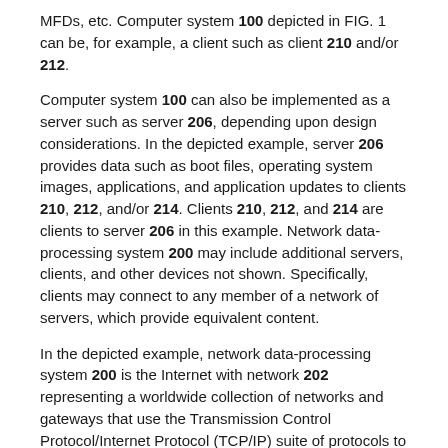MFDs, etc. Computer system 100 depicted in FIG. 1 can be, for example, a client such as client 210 and/or 212.
Computer system 100 can also be implemented as a server such as server 206, depending upon design considerations. In the depicted example, server 206 provides data such as boot files, operating system images, applications, and application updates to clients 210, 212, and/or 214. Clients 210, 212, and 214 are clients to server 206 in this example. Network data-processing system 200 may include additional servers, clients, and other devices not shown. Specifically, clients may connect to any member of a network of servers, which provide equivalent content.
In the depicted example, network data-processing system 200 is the Internet with network 202 representing a worldwide collection of networks and gateways that use the Transmission Control Protocol/Internet Protocol (TCP/IP) suite of protocols to communicate with one another. At the heart of the Internet is a backbone of high-speed data communication lines between major nodes or host computers consisting of thousands of commercial,